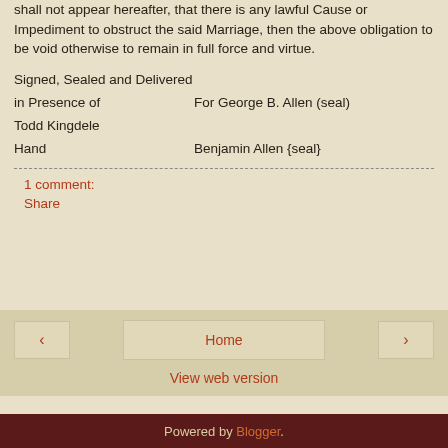shall not appear hereafter, that there is any lawful Cause or Impediment to obstruct the said Marriage, then the above obligation to be void otherwise to remain in full force and virtue.
Signed, Sealed and Delivered in Presence of	For George B. Allen (seal)
Todd Kingdele
Hand	Benjamin Allen {seal}
1 comment:
Share
Home
Powered by Blogger.